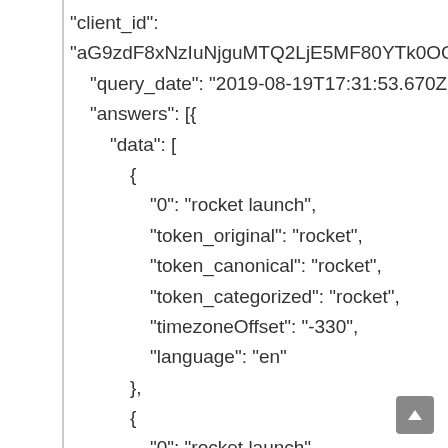"client_id": "aG9zdF8xNzIuNjguMTQ2LjE5MF80YTk0OGY... "query_date": "2019-08-19T17:31:53.670Z", "answers": [{ "data": [ { "0": "rocket launch", "token_original": "rocket", "token_canonical": "rocket", "token_categorized": "rocket", "timezoneOffset": "-330", "language": "en" }, { "0": "rocket launch", "token_original": "rocket",